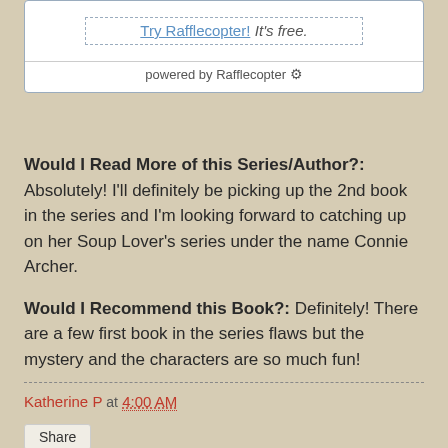[Figure (screenshot): Rafflecopter widget box with 'Try Rafflecopter! It's free.' link and 'powered by Rafflecopter' footer]
Would I Read More of this Series/Author?: Absolutely! I'll definitely be picking up the 2nd book in the series and I'm looking forward to catching up on her Soup Lover's series under the name Connie Archer.
Would I Recommend this Book?: Definitely! There are a few first book in the series flaws but the mystery and the characters are so much fun!
Katherine P at 4:00 AM
Share
19 comments: